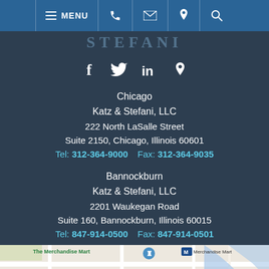MENU [phone] [email] [location] [search]
STEFANI
[Figure (other): Social media icons row: Facebook (f), Twitter (bird), LinkedIn (in), Location pin]
Chicago
Katz & Stefani, LLC
222 North LaSalle Street
Suite 2150, Chicago, Illinois 60601
Tel: 312-364-9000   Fax: 312-364-9035
Bannockburn
Katz & Stefani, LLC
2201 Waukegan Road
Suite 160, Bannockburn, Illinois 60015
Tel: 847-914-0500   Fax: 847-914-0501
[Figure (map): Google Maps screenshot showing The Merchandise Mart area in Chicago with street grid, river, and map pin marker]